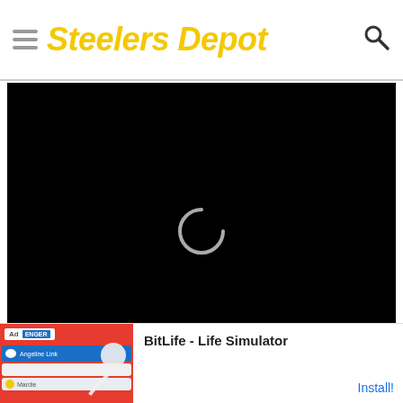Steelers Depot
[Figure (screenshot): Video player with black background showing a loading spinner (C shape), a progress bar at 0:00 of 3:07, mute button, grid/playlist icon, and fullscreen icon]
[Figure (photo): Advertisement banner for BitLife - Life Simulator app with red background image on left and install button on right]